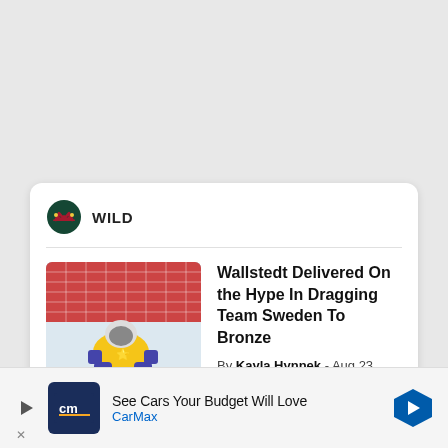[Figure (other): Gray background area occupying top portion of page]
WILD
Wallstedt Delivered On the Hype In Dragging Team Sweden To Bronze
By Kayla Hynnek - Aug 23, 2022
[Figure (photo): Hockey goalie in yellow Sweden jersey making a save, in front of red goal net on ice]
See Cars Your Budget Will Love CarMax